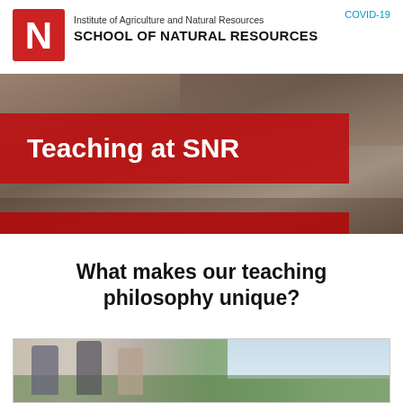COVID-19
[Figure (logo): University of Nebraska red N logo block]
Institute of Agriculture and Natural Resources
SCHOOL OF NATURAL RESOURCES
[Figure (photo): Students in a lecture hall classroom, hero banner with red overlay reading 'Teaching at SNR']
What makes our teaching philosophy unique?
[Figure (photo): Three students outdoors in a field with green landscape in background]